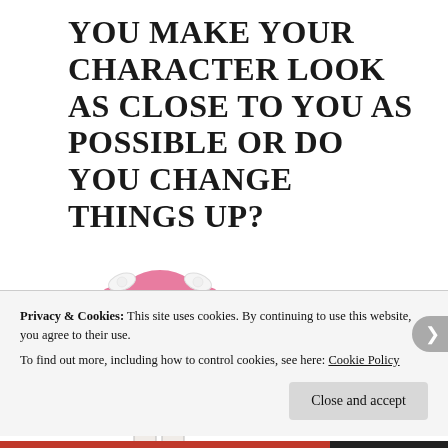YOU MAKE YOUR CHARACTER LOOK AS CLOSE TO YOU AS POSSIBLE OR DO YOU CHANGE THINGS UP?
[Figure (illustration): Chibi-style anime character with pink twin-drill pigtails, white hair bows, round glasses, and a pink maid-style dress with white apron. The character has a cute, small stature typical of chibi art style.]
Privacy & Cookies: This site uses cookies. By continuing to use this website, you agree to their use.
To find out more, including how to control cookies, see here: Cookie Policy
Close and accept